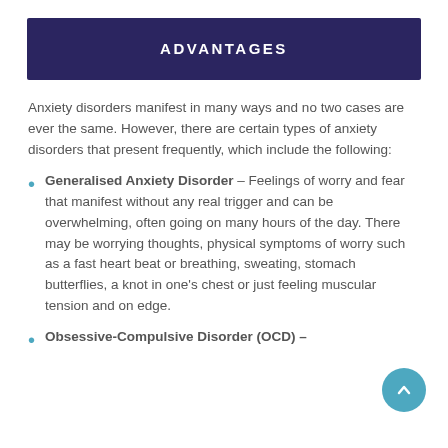ADVANTAGES
Anxiety disorders manifest in many ways and no two cases are ever the same. However, there are certain types of anxiety disorders that present frequently, which include the following:
Generalised Anxiety Disorder – Feelings of worry and fear that manifest without any real trigger and can be overwhelming, often going on many hours of the day. There may be worrying thoughts, physical symptoms of worry such as a fast heart beat or breathing, sweating, stomach butterflies, a knot in one's chest or just feeling muscular tension and on edge.
Obsessive-Compulsive Disorder (OCD) –